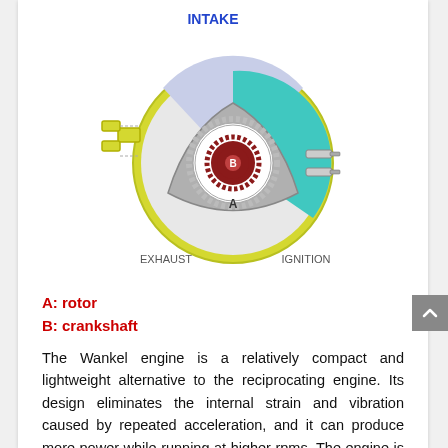[Figure (engineering-diagram): Cross-section diagram of a Wankel rotary engine showing the rotor (A) and crankshaft (B) inside a housing. Labeled sections include INTAKE at the top, EXHAUST at the lower left, and IGNITION at the lower right. The housing is yellow-outlined, the intake chamber is light purple/blue, the combustion chamber is teal/cyan, the rotor is gray triangular with rounded sides labeled A, and the central gear assembly (crankshaft B) is dark red/maroon with a white toothed ring.]
A: rotor
B: crankshaft
The Wankel engine is a relatively compact and lightweight alternative to the reciprocating engine. Its design eliminates the internal strain and vibration caused by repeated acceleration, and it can produce more power while running at higher rpms. The engine is also more fuel efficient than a conventional piston engine. In addition, the Wankel uses a smaller amount of oil than a traditional piston or cylinder engine. If you want to save weight and space, you can install a